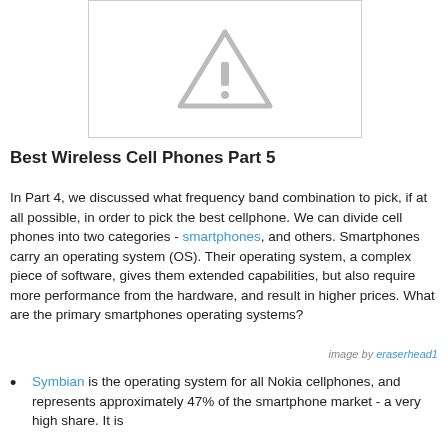[Figure (other): Placeholder image with a warning/image-missing triangle icon in gray on white background with gray border]
Best Wireless Cell Phones Part 5
In Part 4, we discussed what frequency band combination to pick, if at all possible, in order to pick the best cellphone. We can divide cell phones into two categories - smartphones, and others. Smartphones carry an operating system (OS). Their operating system, a complex piece of software, gives them extended capabilities, but also require more performance from the hardware, and result in higher prices. What are the primary smartphones operating systems?
image by eraserhead1
Symbian is the operating system for all Nokia cellphones, and represents approximately 47% of the smartphone market - a very high share. It is